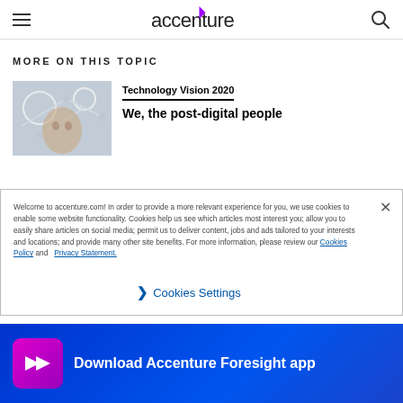Accenture navigation header with hamburger menu, logo, and search icon
MORE ON THIS TOPIC
[Figure (photo): Thumbnail image of a woman with robotic/mechanical elements around her, related to Technology Vision 2020]
Technology Vision 2020
We, the post-digital people
Welcome to accenture.com! In order to provide a more relevant experience for you, we use cookies to enable some website functionality. Cookies help us see which articles most interest you; allow you to easily share articles on social media; permit us to deliver content, jobs and ads tailored to your interests and locations; and provide many other site benefits. For more information, please review our Cookies Policy and Privacy Statement.
Cookies Settings
Download Accenture Foresight app